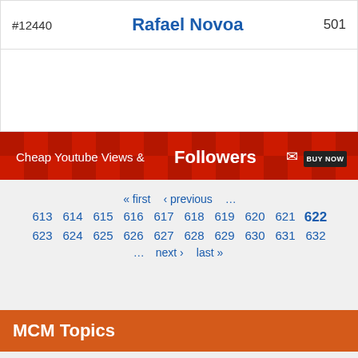#12440    Rafael Novoa    501
[Figure (infographic): Red banner advertisement: 'Cheap Youtube Views & Followers ✉ BUY NOW']
« first ‹ previous … 613 614 615 616 617 618 619 620 621 622 623 624 625 626 627 628 629 630 631 632 … next › last »
MCM Topics